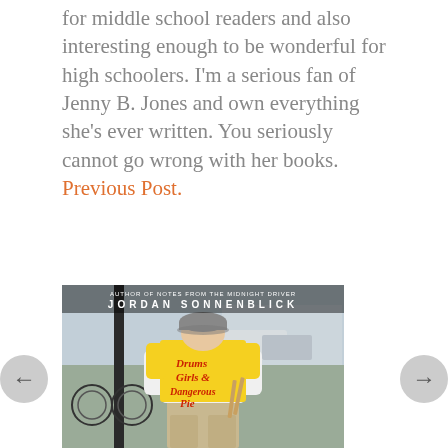for middle school readers and also interesting enough to be wonderful for high schoolers. I'm a serious fan of Jenny B. Jones and own everything she's ever written. You seriously cannot go wrong with her books. Previous Post.
[Figure (photo): Book cover of 'Drums Girls & Dangerous Pie' by Jordan Sonnenblick. Shows the back of a young person wearing a bright yellow t-shirt with the book title written on it in red text, standing on a city street. Text at top reads 'AUTHOR OF NOTES FROM THE MIDNIGHT DRIVER' and 'JORDAN SONNENBLICK'.]